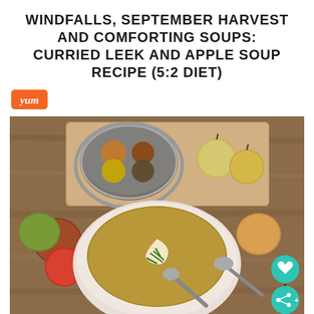WINDFALLS, SEPTEMBER HARVEST AND COMFORTING SOUPS: CURRIED LEEK AND APPLE SOUP RECIPE (5:2 DIET)
[Figure (logo): Yum badge - orange rounded rectangle with italic white text 'Yum']
[Figure (photo): Food photography showing a bowl of curried leek and apple soup with cream swirl and chives, surrounded by apples, a spice tin, and spoons on a wooden surface]